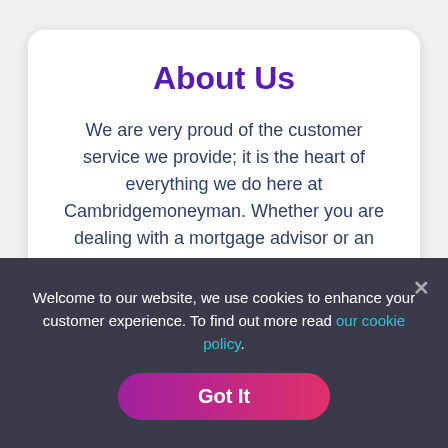About Us
We are very proud of the customer service we provide; it is the heart of everything we do here at Cambridgemoneyman. Whether you are dealing with a mortgage advisor or an administrator, our dedicated team are here from early until late, 7 days a week to assist with any enquiries you may have.
Welcome to our website, we use cookies to enhance your customer experience. To find out more read our cookie policy.